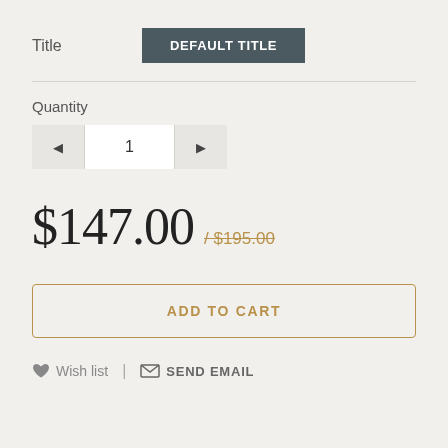Title
DEFAULT TITLE
Quantity
1
$147.00 / $195.00
ADD TO CART
Wish list | SEND EMAIL